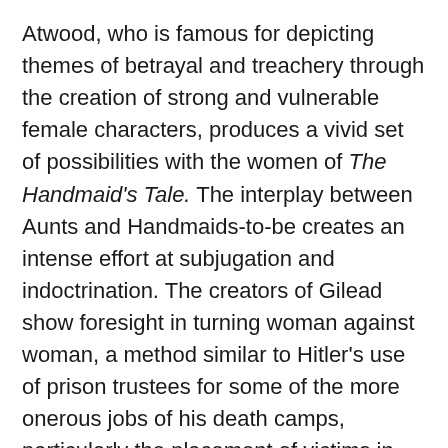Atwood, who is famous for depicting themes of betrayal and treachery through the creation of strong and vulnerable female characters, produces a vivid set of possibilities with the women of The Handmaid's Tale. The interplay between Aunts and Handmaids-to-be creates an intense effort at subjugation and indoctrination. The creators of Gilead show foresight in turning woman against woman, a method similar to Hitler's use of prison trustees for some of the more onerous jobs of his death camps, particularly the placement of victims in ovens and burial details for those mowed down by machine gun fire. Although Offred resists brainwashing, her regular references to Aunt Lydia's tedious, one-dimensional precepts and aphorisms ["Modesty is invisibility"] indicate the success of the program. So thoroughly indoctrinated is Offred that she admits enjoying taunting Janine, a victim of gang rape, and even succumbs to mass hysteria and takes an active role in a public execution.